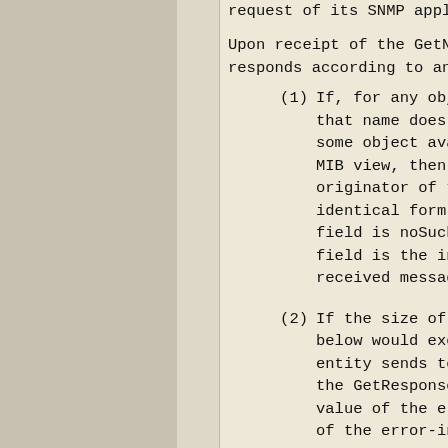request of its SNMP application...
Upon receipt of the GetNextRequ... responds according to any appli...
(1) If, for any object na... that name does not le... some object available... MIB view, then the re... originator of the rec... identical form, excep... field is noSuchName, ... field is the index of... received message.
(2) If the size of the Ge... below would exceed a ... entity sends to the o... the GetResponse-PDU o... value of the error-st... of the error-index fi...
(3) If, for any object na... the value of the lexi... object cannot be retr... of the foregoing ru...